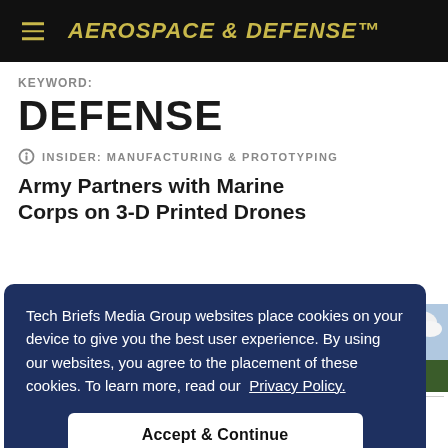AEROSPACE & DEFENSE
KEYWORD:
DEFENSE
INSIDER: MANUFACTURING & PROTOTYPING
Army Partners with Marine Corps on 3-D Printed Drones
Tech Briefs Media Group websites place cookies on your device to give you the best user experience. By using our websites, you agree to the placement of these cookies. To learn more, read our Privacy Policy.
Accept & Continue
[Figure (photo): Outdoor photo showing military equipment with sky and trees in background]
New Invention Could Lead to Novel Terahertz Light S...